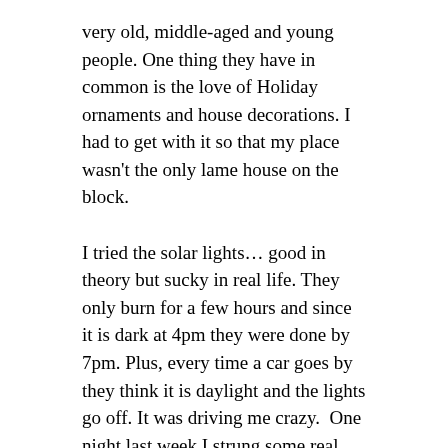very old, middle-aged and young people. One thing they have in common is the love of Holiday ornaments and house decorations. I had to get with it so that my place wasn't the only lame house on the block.
I tried the solar lights… good in theory but sucky in real life. They only burn for a few hours and since it is dark at 4pm they were done by 7pm. Plus, every time a car goes by they think it is daylight and the lights go off. It was driving me crazy.  One night last week I strung some real lights on top of the solar lights and it is much better.
So now that the outside of my house is up to par…. It's time to get the inside of myself up to par.
I wanted to do something at the office that would be good. Good for the community, good for my staff and good for me. Last year we decided to try “The 1st annual 21 days of giving event.” For every pair of glasses we sold we donated $10.00 to